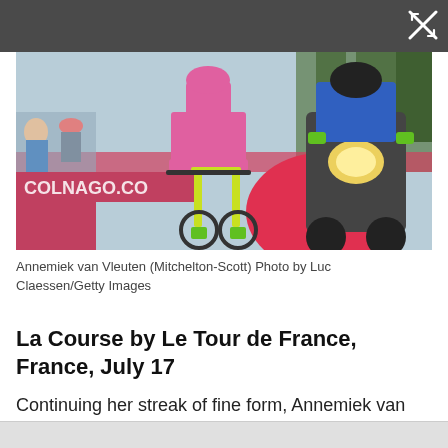[Figure (photo): Annemiek van Vleuten cycling race photo, a cyclist in pink and green kit on a yellow-green bike, followed by a motorcycle official, with red advertising barriers and trees in background. Photo by Luc Claessen/Getty Images.]
Annemiek van Vleuten (Mitchelton-Scott) Photo by Luc Claessen/Getty Images
La Course by Le Tour de France, France, July 17
Continuing her streak of fine form, Annemiek van Vleuten